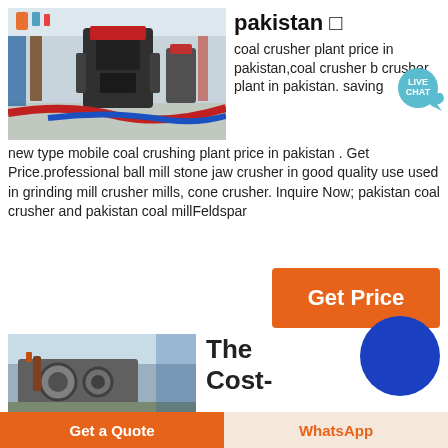[Figure (photo): Industrial crushing machine / coal crusher plant equipment inside a facility with colored hoses and gravel on floor]
pakistan □
coal crusher plant price in pakistan,coal crusher b crusher plant in pakistan. saving new type mobile coal crushing plant price in pakistan . Get Price.professional ball mill stone jaw crusher in good quality use used in grinding mill crusher mills, cone crusher. Inquire Now; pakistan coal crusher and pakistan coal millFeldspar
[Figure (illustration): Live Chat bubble icon]
[Figure (photo): Get Price button (orange rectangle)]
[Figure (photo): Industrial machine / coal crusher equipment - second image]
The 
Cost-
Get a Quote   WhatsApp